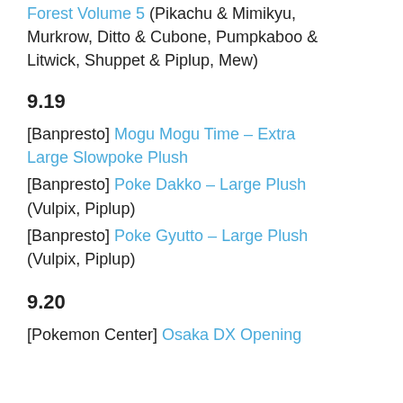Forest Volume 5 (Pikachu & Mimikyu, Murkrow, Ditto & Cubone, Pumpkaboo & Litwick, Shuppet & Piplup, Mew)
9.19
[Banpresto] Mogu Mogu Time – Extra Large Slowpoke Plush
[Banpresto] Poke Dakko – Large Plush (Vulpix, Piplup)
[Banpresto] Poke Gyutto – Large Plush (Vulpix, Piplup)
9.20
[Pokemon Center] Osaka DX Opening